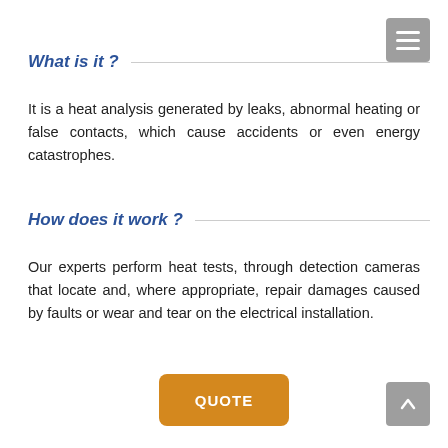What is it ?
It is a heat analysis generated by leaks, abnormal heating or false contacts, which cause accidents or even energy catastrophes.
How does it work ?
Our experts perform heat tests, through detection cameras that locate and, where appropriate, repair damages caused by faults or wear and tear on the electrical installation.
QUOTE